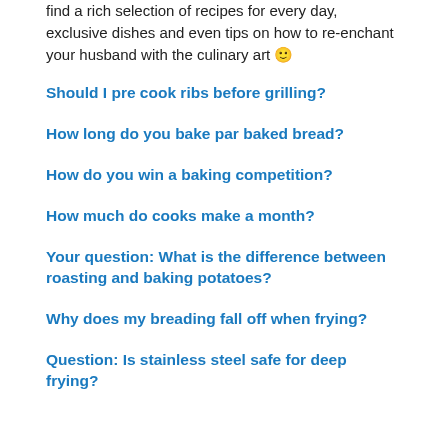find a rich selection of recipes for every day, exclusive dishes and even tips on how to re-enchant your husband with the culinary art 🙂
Should I pre cook ribs before grilling?
How long do you bake par baked bread?
How do you win a baking competition?
How much do cooks make a month?
Your question: What is the difference between roasting and baking potatoes?
Why does my breading fall off when frying?
Question: Is stainless steel safe for deep frying?